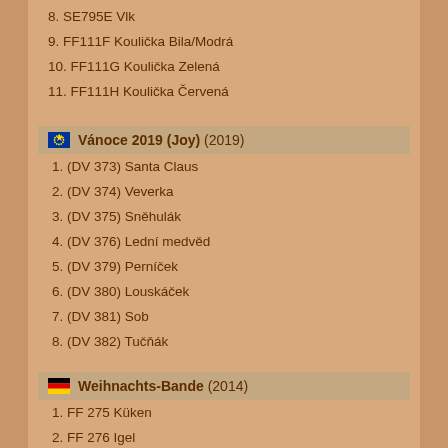8. SE795E Vlk
9. FF111F Koulička Bila/Modrá
10. FF111G Koulička Zelená
11. FF111H Koulička Červená
Vánoce 2019 (Joy) (2019)
1. (DV 373) Santa Claus
2. (DV 374) Veverka
3. (DV 375) Sněhulák
4. (DV 376) Lední medvěd
5. (DV 379) Perníček
6. (DV 380) Louskáček
7. (DV 381) Sob
8. (DV 382) Tučňák
Weihnachts-Bande (2014)
1. FF 275 Küken
2. FF 276 Igel
3. FF 277 Kinderino
4. FF 280 Weihnachtsmann
5. FF 281 Bär